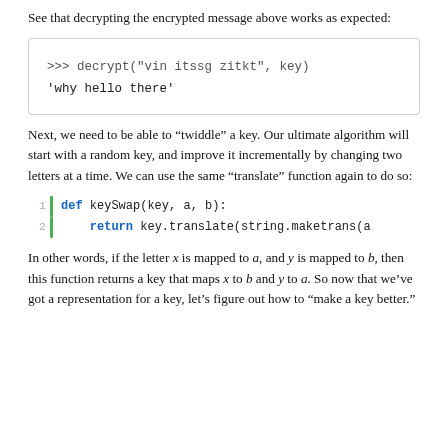See that decrypting the encrypted message above works as expected:
[Figure (screenshot): Code block showing: >>> decrypt("vin itssg zitkt", key) and 'why hello there']
Next, we need to be able to “twiddle” a key. Our ultimate algorithm will start with a random key, and improve it incrementally by changing two letters at a time. We can use the same “translate” function again to do so:
[Figure (screenshot): Numbered code block: 1  def keySwap(key, a, b):  2      return key.translate(string.maketrans(a]
In other words, if the letter x is mapped to a, and y is mapped to b, then this function returns a key that maps x to b and y to a. So now that we’ve got a representation for a key, let’s figure out how to “make a key better.”